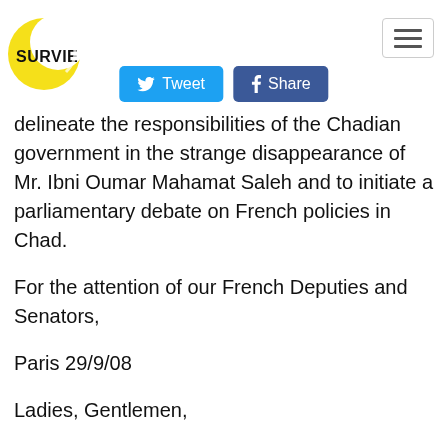SURVIE
[Figure (logo): Survie logo: yellow crescent moon with black bold text SURVIE]
[Figure (other): Hamburger menu button (three horizontal lines in a rectangle)]
[Figure (other): Social share buttons: Tweet (blue, Twitter bird icon) and Share (dark blue, Facebook f icon)]
delineate the responsibilities of the Chadian government in the strange disappearance of Mr. Ibni Oumar Mahamat Saleh and to initiate a parliamentary debate on French policies in Chad.
For the attention of our French Deputies and Senators,
Paris 29/9/08
Ladies, Gentlemen,
In February of this year, during an attack by rebel groups on the capital of N'djamena, several citizens of the unarmed political opposition were kidnapped. On his visit